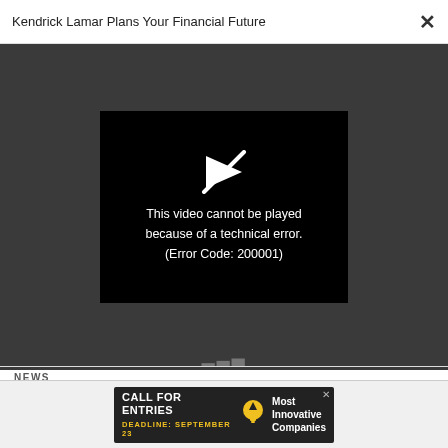Kendrick Lamar Plans Your Financial Future
[Figure (screenshot): Video player showing error: 'This video cannot be played because of a technical error. (Error Code: 200001)' on black background with dark gray surrounding area]
NEWS
0% inflation is nice, but this number from today's CPI report is even more encouraging
[Figure (infographic): Advertisement banner: CALL FOR ENTRIES, DEADLINE: SEPTEMBER 23, Most Innovative Companies. Dark background with lightbulb icon.]